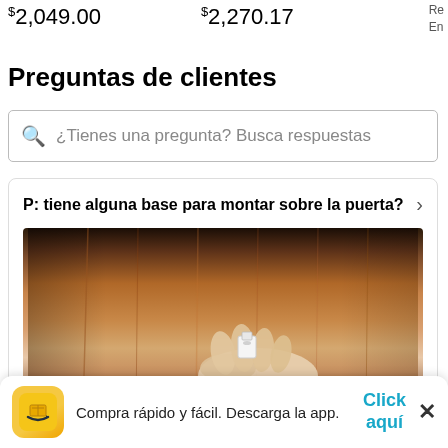$2,049.00   $2,270.17
Re
En
Preguntas de clientes
¿Tienes una pregunta? Busca respuestas
P: tiene alguna base para montar sobre la puerta?
[Figure (photo): Photo of a hand holding a small white mounting bracket against a wooden door surface. Caption at bottom reads: Paso 7: Fije la placa de montaje en la pared]
Compra rápido y fácil. Descarga la app.
Click aquí